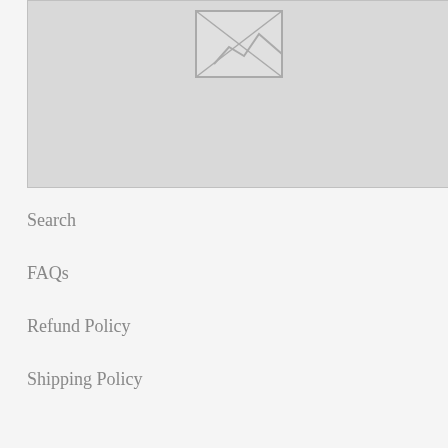[Figure (other): Broken image placeholder with gray background and image-not-found icon (rectangle with diagonal lines) in top center area]
Search
FAQs
Refund Policy
Shipping Policy